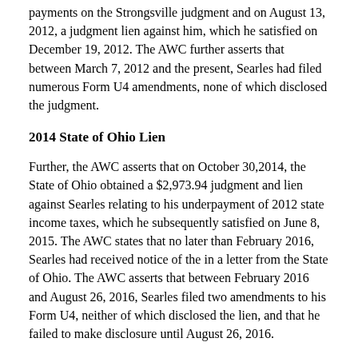payments on the Strongsville judgment and on August 13, 2012, a judgment lien against him, which he satisfied on December 19, 2012. The AWC further asserts that between March 7, 2012 and the present, Searles had filed numerous Form U4 amendments, none of which disclosed the judgment.
2014 State of Ohio Lien
Further, the AWC asserts that on October 30,2014, the State of Ohio obtained a $2,973.94 judgment and lien against Searles relating to his underpayment of 2012 state income taxes, which he subsequently satisfied on June 8, 2015. The AWC states that no later than February 2016, Searles had received notice of the in a letter from the State of Ohio. The AWC asserts that between February 2016 and August 26, 2016, Searles filed two amendments to his Form U4, neither of which disclosed the lien, and that he failed to make disclosure until August 26, 2016.